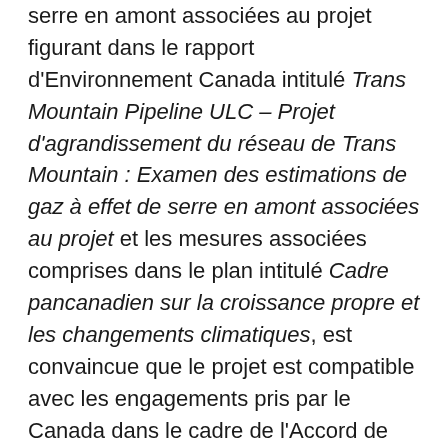serre en amont associées au projet figurant dans le rapport d'Environnement Canada intitulé Trans Mountain Pipeline ULC – Projet d'agrandissement du réseau de Trans Mountain : Examen des estimations de gaz à effet de serre en amont associées au projet et les mesures associées comprises dans le plan intitulé Cadre pancanadien sur la croissance propre et les changements climatiques, est convaincue que le projet est compatible avec les engagements pris par le Canada dans le cadre de l'Accord de Paris sur le climat;